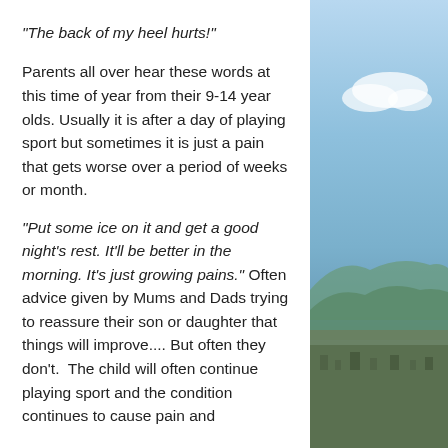"The back of my heel hurts!"
Parents all over hear these words at this time of year from their 9-14 year olds. Usually it is after a day of playing sport but sometimes it is just a pain that gets worse over a period of weeks or month.
“Put some ice on it and get a good night’s rest. It’ll be better in the morning. It’s just growing pains.” Often advice given by Mums and Dads trying to reassure their son or daughter that things will improve.... But often they don’t.  The child will often continue playing sport and the condition continues to cause pain and
[Figure (photo): Outdoor aerial landscape photo showing sky with clouds in the upper portion and hills/town in the lower portion, blue and green tones.]